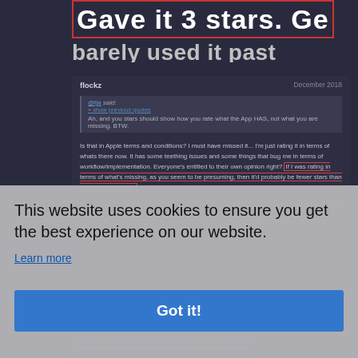[Figure (screenshot): Dark-themed forum/discussion website screenshot showing user posts by 'flockz' dated December 2018, with quoted text and discussion about app star ratings. A cookie consent overlay appears in the lower portion reading 'This website uses cookies to ensure you get the best experience on our website.' with a 'Learn more' link and 'Got it!' button.]
Gave it 3 stars. Ge barely used it past
@tja said: » show previous quotes Ah, and you stars should show how you rate what the App HAS, not what you are missing. BTW.
Is that in Apple terms and conditions? I must have missed it... I'm just rating it in terms of whats there now. It has some teething issues and some things that bug me in terms of workflow/implementation. Everyone's entitled to their own opinion right? If I was rating in terms of what's missing, as you seem to be presuming, then it'd probably be fewer stars than three, but I wasn't...
This website uses cookies to ensure you get the best experience on our website.
Learn more
Got it!
that stuff gets ironed out I'll be more inclined to give higher rating.